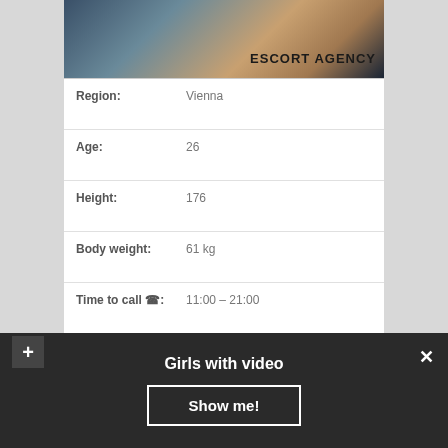[Figure (photo): Partial photo of a person with escort agency overlay text]
| Region: | Vienna |
| Age: | 26 |
| Height: | 176 |
| Body weight: | 61 kg |
| Time to call ☎: | 11:00 – 21:00 |
| Body: | 90-59-89 |
| Escort Preferences: | Receiving Oral, Massage anti-stress, Hand Relief ▷ |
| Outcall: | Anytime. |
Girls with video
Show me!